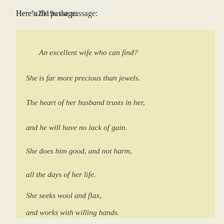Here’s the passage:
An excellent wife who can find?
She is far more precious than jewels.
The heart of her husband trusts in her,
and he will have no lack of gain.
She does him good, and not harm,
all the days of her life.
She seeks wool and flax,
and works with willing hands.